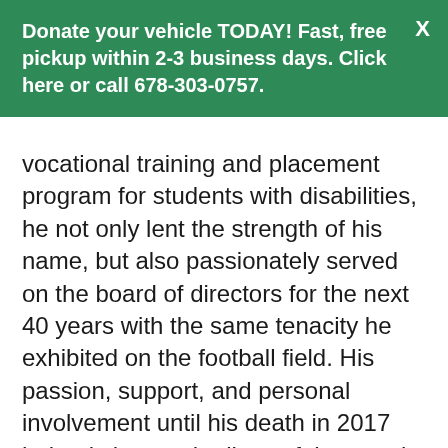Donate your vehicle TODAY! Fast, free pickup within 2-3 business days. Click here or call 678-303-0757.
vocational training and placement program for students with disabilities, he not only lent the strength of his name, but also passionately served on the board of directors for the next 40 years with the same tenacity he exhibited on the football field. His passion, support, and personal involvement until his death in 2017 helped change the lives of thousands of people with disabilities.

Tommy's wife, Lynn, was also deeply